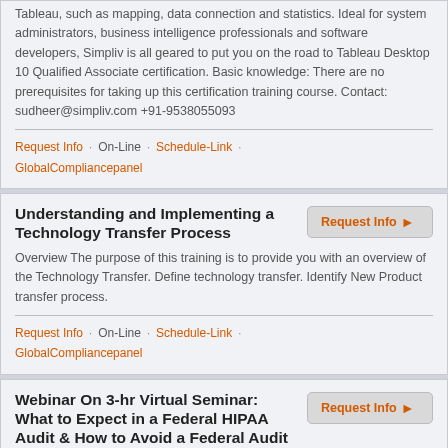Tableau, such as mapping, data connection and statistics. Ideal for system administrators, business intelligence professionals and software developers, Simpliv is all geared to put you on the road to Tableau Desktop 10 Qualified Associate certification. Basic knowledge: There are no prerequisites for taking up this certification training course. Contact: sudheer@simpliv.com +91-9538055093
Request Info · On-Line · Schedule-Link · GlobalCompliancepanel
Understanding and Implementing a Technology Transfer Process
Overview The purpose of this training is to provide you with an overview of the Technology Transfer. Define technology transfer. Identify New Product transfer process.
Request Info · On-Line · Schedule-Link · GlobalCompliancepanel
Webinar On 3-hr Virtual Seminar: What to Expect in a Federal HIPAA Audit & How to Avoid a Federal Audit